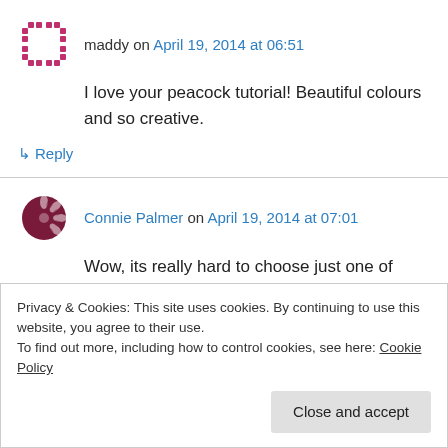maddy on April 19, 2014 at 06:51
I love your peacock tutorial! Beautiful colours and so creative.
↳ Reply
Connie Palmer on April 19, 2014 at 07:01
Wow, its really hard to choose just one of your looks that is my favorite. But if I had to choose
Privacy & Cookies: This site uses cookies. By continuing to use this website, you agree to their use.
To find out more, including how to control cookies, see here: Cookie Policy
Close and accept